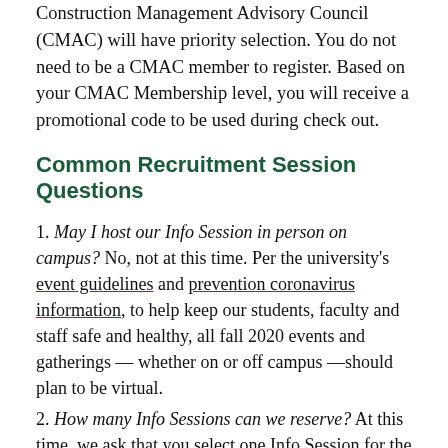Construction Management Advisory Council (CMAC) will have priority selection. You do not need to be a CMAC member to register. Based on your CMAC Membership level, you will receive a promotional code to be used during check out.
Common Recruitment Session Questions
1. May I host our Info Session in person on campus? No, not at this time. Per the university's event guidelines and prevention coronavirus information, to help keep our students, faculty and staff safe and healthy, all fall 2020 events and gatherings — whether on or off campus —should plan to be virtual.
2. How many Info Sessions can we reserve? At this time, we ask that you select one Info Session for the academic year.
3. Can I send you an email rather than the online form?